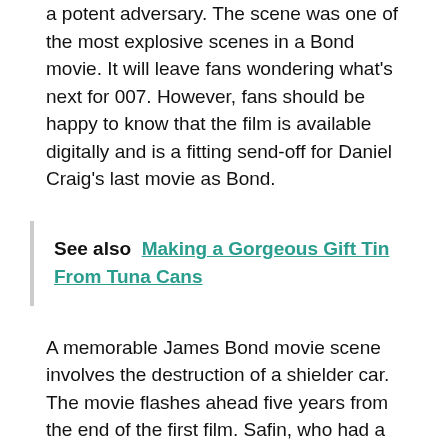a potent adversary. The scene was one of the most explosive scenes in a Bond movie. It will leave fans wondering what's next for 007. However, fans should be happy to know that the film is available digitally and is a fitting send-off for Daniel Craig's last movie as Bond.
See also  Making a Gorgeous Gift Tin From Tuna Cans
A memorable James Bond movie scene involves the destruction of a shielder car. The movie flashes ahead five years from the end of the first film. Safin, who had a previous job as an undercover agent, now possesses a bioterrorist weapon designed to target specific DNA. The gun could